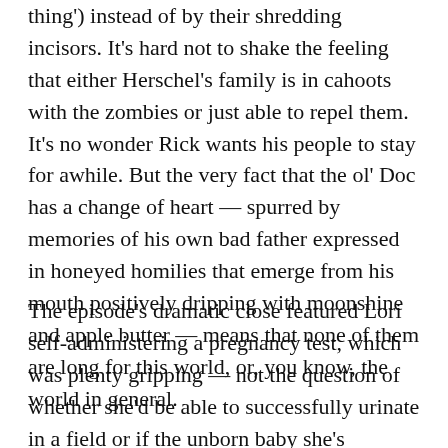thing') instead of by their shredding incisors. It's hard not to shake the feeling that either Herschel's family is in cahoots with the zombies or just able to repel them. It's no wonder Rick wants his people to stay for awhile. But the very fact that the ol' Doc has a change of heart — spurred by memories of his own bad father expressed in honeyed homilies that emerge from his mouth positively dripping with moonshine and apple butter — means that none of them are long for this world, or, you know, the world in general.
The episode's dramatic close featured Lori self-administering a pregnancy test, which was plenty gripping — not the question of whether she'd be able to successfully urinate in a field or if the unborn baby she's carrying will have a bad Southern accent or a bad British-person-trying-to-do-a-Southern-accent accent — but whether something,